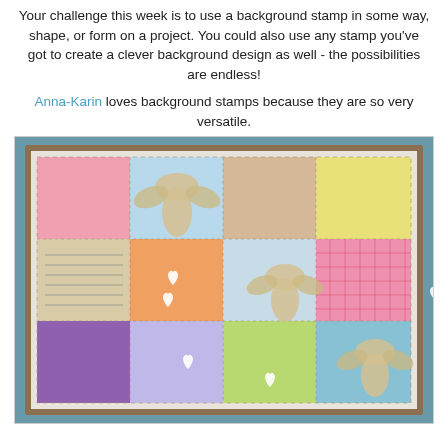Your challenge this week is to use a background stamp in some way, shape, or form on a project. You could also use any stamp you've got to create a clever background design as well - the possibilities are endless!
Anna-Karin loves background stamps because they are so very versatile.
[Figure (photo): A colorful quilt-style crafting project showing a grid of patchwork squares with various background stamp patterns including floral, text, geometric, and fabric textures. Burlap angel/butterfly shapes and white heart cutouts are layered across the squares. The project is mounted on a teal/blue background with a wooden frame border.]